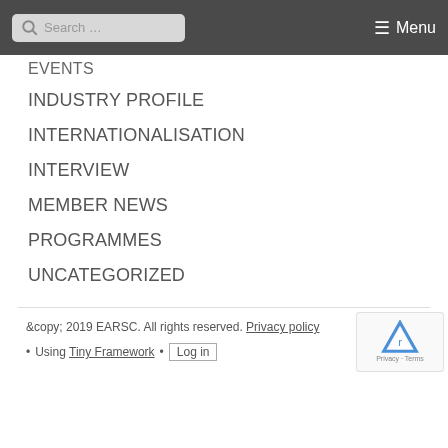Search... Menu
EVENTS
INDUSTRY PROFILE
INTERNATIONALISATION
INTERVIEW
MEMBER NEWS
PROGRAMMES
UNCATEGORIZED
&copy; 2019 EARSC. All rights reserved. Privacy policy • Using Tiny Framework • Log in